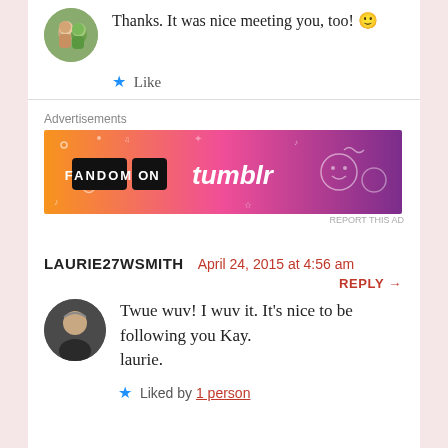Thanks. It was nice meeting you, too! 🙂
★ Like
Advertisements
[Figure (illustration): Fandom on Tumblr advertisement banner with orange to purple gradient background and decorative doodles]
REPORT THIS AD
LAURIE27WSMITH
April 24, 2015 at 4:56 am
REPLY →
Twue wuv! I wuv it. It's nice to be following you Kay.
laurie.
★ Liked by 1 person